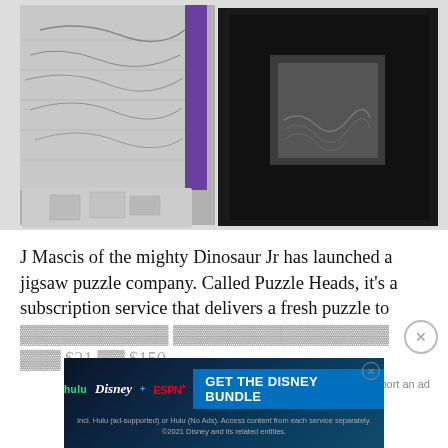[Figure (photo): Product photo showing two puzzle items: left side shows a black-and-white puzzle box with intricate nature/dinosaur artwork and purple spine standing open with puzzle pieces spread in front; right side shows a dark black folded card/folder with a grey square embossed image on it, on white background.]
J Mascis of the mighty Dinosaur Jr has launched a jigsaw puzzle company. Called Puzzle Heads, it's a subscription service that delivers a fresh puzzle to your door every month, ranging from $21 to $150
Report an ad
[Figure (screenshot): Disney Bundle advertisement banner. Shows logos for Hulu, Disney+, and ESPN+. CTA button reads 'GET THE DISNEY BUNDLE'. Fine print: Incl. Hulu (ad-supported) or Hulu (No Ads). Access content from each service separately. ©2021 Disney and its related entities.]